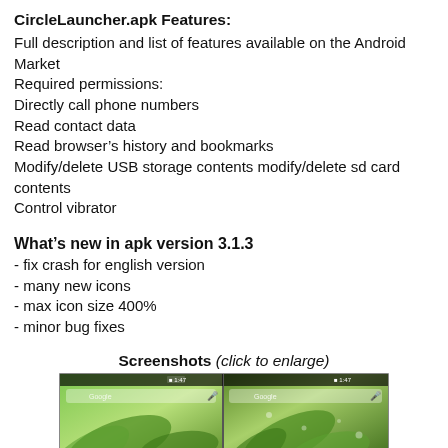CircleLauncher.apk Features:
Full description and list of features available on the Android Market
Required permissions:
Directly call phone numbers
Read contact data
Read browser's history and bookmarks
Modify/delete USB storage contents modify/delete sd card contents
Control vibrator
What's new in apk version 3.1.3
- fix crash for english version
- many new icons
- max icon size 400%
- minor bug fixes
Screenshots (click to enlarge)
[Figure (screenshot): Two side-by-side Android screenshots showing a home screen with green leaf backgrounds and a Google search bar.]